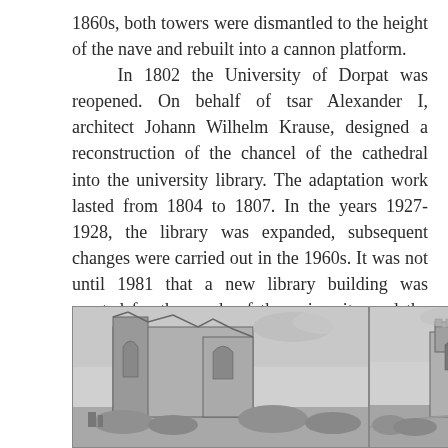1860s, both towers were dismantled to the height of the nave and rebuilt into a cannon platform.
    In 1802 the University of Dorpat was reopened. On behalf of tsar Alexander I, architect Johann Wilhelm Krause, designed a reconstruction of the chancel of the cathedral into the university library. The adaptation work lasted from 1804 to 1807. In the years 1927-1928, the library was expanded, subsequent changes were carried out in the 1960s. It was not until 1981 that a new library building was erected for the needs of the university, and the Historical Museum of the University of Tartu was arranged in the empty presbytery of the cathedral.
[Figure (illustration): Black and white engraving of a cathedral ruin with tall walls and arched windows, viewed from outside with landscape in foreground]
[Figure (illustration): Black and white engraving of a cathedral or castle ruin with a tower, trees visible on the right, landscape in foreground]